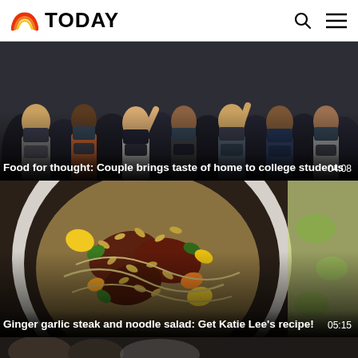TODAY
[Figure (screenshot): Screenshot of TODAY website showing video thumbnails for food-related stories]
Food for thought: Couple brings taste of home to college students
04:08
[Figure (photo): Photo of ginger garlic steak and noodle salad in a white bowl with colorful vegetables and sliced almonds]
Ginger garlic steak and noodle salad: Get Katie Lee’s recipe!
05:15